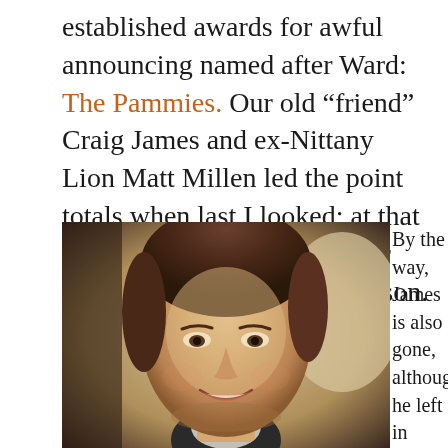established awards for awful announcing named after Ward: The Pammies. Our old “friend” Craig James and ex-Nittany Lion Matt Millen led the point totals when last I looked; at that time Pam herself was tied for third place with Gary Danielson.
[Figure (photo): Close-up photo of a smiling man in a suit, brown hair, against a light background]
By the way, James is also gone, although he left in order to flop at politics. I